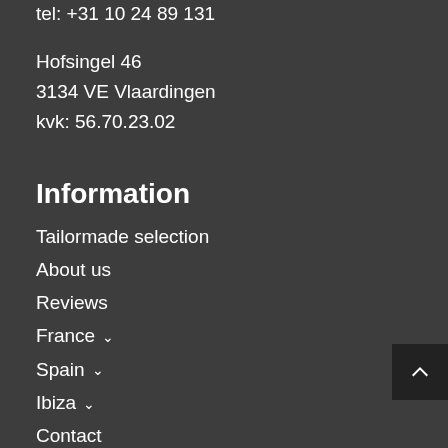tel: +31 10 24 89 131
Hofsingel 46
3134 VE Vlaardingen
kvk: 56.70.23.02
Information
Tailormade selection
About us
Reviews
France ˅
Spain ˅
Ibiza ˅
Contact
Social